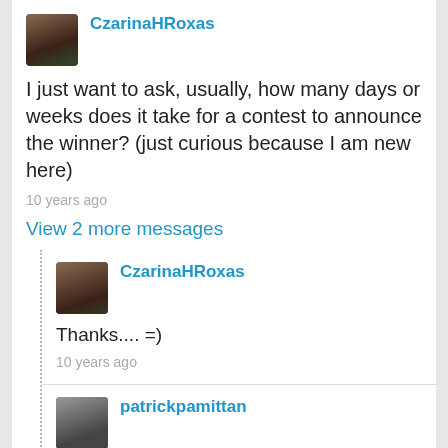[Figure (photo): Profile avatar of CzarinaHRoxas, a woman with dark hair]
CzarinaHRoxas
I just want to ask, usually, how many days or weeks does it take for a contest to announce the winner? (just curious because I am new here)
10 years ago
View 2 more messages
[Figure (photo): Profile avatar of CzarinaHRoxas, a woman with dark hair]
CzarinaHRoxas
Thanks.... =)
10 years ago
[Figure (photo): Profile avatar of patrickpamittan, a person in black and white photo]
patrickpamittan
depends on the contest holder